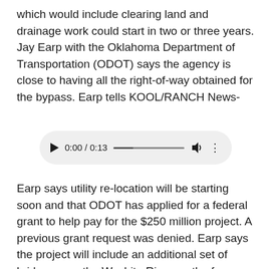which would include clearing land and drainage work could start in two or three years. Jay Earp with the Oklahoma Department of Transportation (ODOT) says the agency is close to having all the right-of-way obtained for the bypass. Earp tells KOOL/RANCH News-
[Figure (other): Audio player widget showing 0:00 / 0:13 with play button, progress bar, volume icon, and more options icon]
Earp says utility re-location will be starting soon and that ODOT has applied for a federal grant to help pay for the $250 million project. A previous grant request was denied. Earp says the project will include an additional set of bridges over the Washita River north of Chickasha.